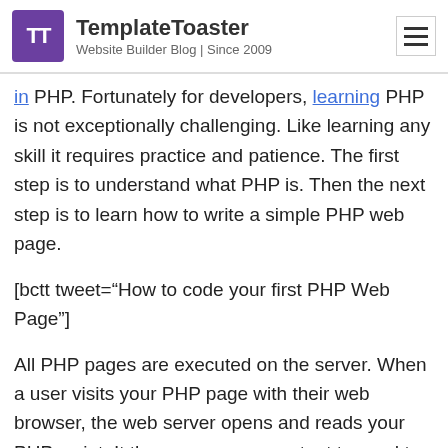TemplateToaster — Website Builder Blog | Since 2009
in PHP. Fortunately for developers, learning PHP is not exceptionally challenging. Like learning any skill it requires practice and patience. The first step is to understand what PHP is. Then the next step is to learn how to write a simple PHP web page.
[bctt tweet="How to code your first PHP Web Page"]
All PHP pages are executed on the server. When a user visits your PHP page with their web browser, the web server opens and reads your PHP script. It then prepares an output to send to the web browser. For this reason, PHP scripts typically include database